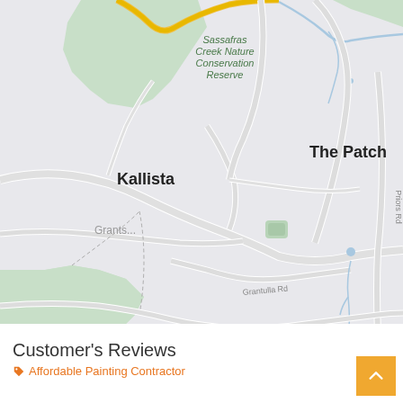[Figure (map): Google Maps style map showing Kallista, The Patch, Sassafras Creek Nature Conservation Reserve, Grants..., Grantulla Rd, Priors Rd area in Australia. Green areas for nature reserve and parks, light grey roads, blue waterways.]
Customer's Reviews
Affordable Painting Contractor